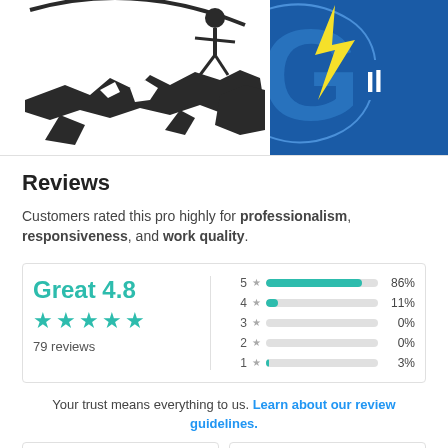[Figure (logo): Partial silhouette logo on left (dark figure over globe) and partial blue logo with yellow lightning bolt on right]
Reviews
Customers rated this pro highly for professionalism, responsiveness, and work quality.
[Figure (infographic): Rating widget: Great 4.8, 4 green stars, 79 reviews; bar chart showing 5★ 86%, 4★ 11%, 3★ 0%, 2★ 0%, 1★ 3%]
Your trust means everything to us. Learn about our review guidelines.
[Figure (other): Two partial card elements at bottom]